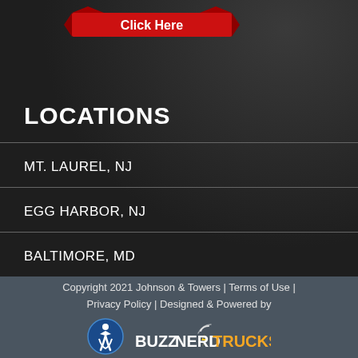[Figure (other): Red banner button with 'Click Here' text]
LOCATIONS
MT. LAUREL, NJ
EGG HARBOR, NJ
BALTIMORE, MD
Copyright 2021 Johnson & Towers | Terms of Use | Privacy Policy | Designed & Powered by BUZZNERDTRUCKS